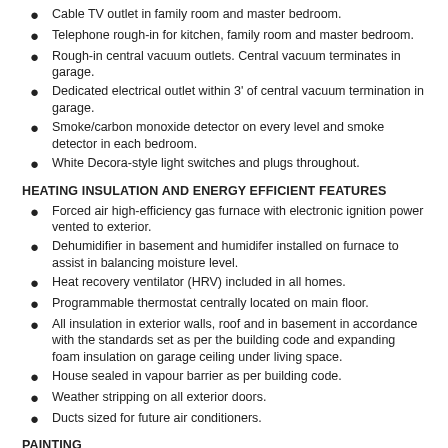Cable TV outlet in family room and master bedroom.
Telephone rough-in for kitchen, family room and master bedroom.
Rough-in central vacuum outlets. Central vacuum terminates in garage.
Dedicated electrical outlet within 3' of central vacuum termination in garage.
Smoke/carbon monoxide detector on every level and smoke detector in each bedroom.
White Decora-style light switches and plugs throughout.
HEATING INSULATION AND ENERGY EFFICIENT FEATURES
Forced air high-efficiency gas furnace with electronic ignition power vented to exterior.
Dehumidifier in basement and humidifer installed on furnace to assist in balancing moisture level.
Heat recovery ventilator (HRV) included in all homes.
Programmable thermostat centrally located on main floor.
All insulation in exterior walls, roof and in basement in accordance with the standards set as per the building code and expanding foam insulation on garage ceiling under living space.
House sealed in vapour barrier as per building code.
Weather stripping on all exterior doors.
Ducts sized for future air conditioners.
PAINTING